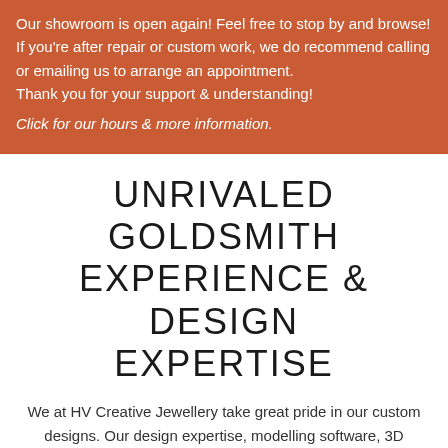Our showroom is open again! Feel free to stop by and browse! If you're after repair or custom work, we do recommend calling or emailing us to arrange an appointment.
Thank you for your support & understanding!
Click for our hours & more information.
UNRIVALED GOLDSMITH EXPERIENCE & DESIGN EXPERTISE
We at HV Creative Jewellery take great pride in our custom designs. Our design expertise, modelling software, 3D printing technology, and over 30 years of experience on the